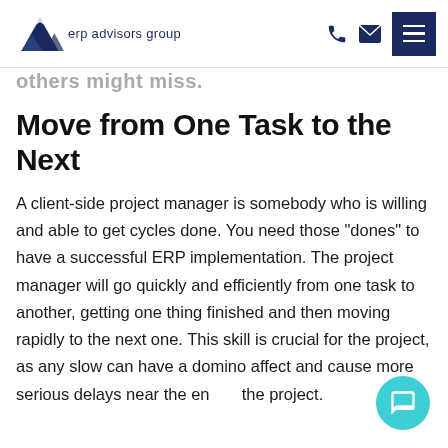erp advisors group
others might miss.
Move from One Task to the Next
A client-side project manager is somebody who is willing and able to get cycles done. You need those “dones” to have a successful ERP implementation. The project manager will go quickly and efficiently from one task to another, getting one thing finished and then moving rapidly to the next one. This skill is crucial for the project, as any slow can have a domino affect and cause more serious delays near the end of the project.